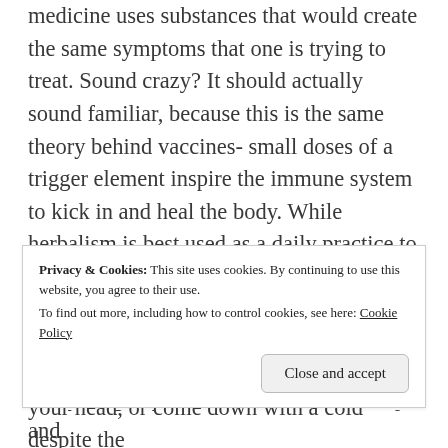medicine uses substances that would create the same symptoms that one is trying to treat. Sound crazy? It should actually sound familiar, because this is the same theory behind vaccines- small doses of a trigger element inspire the immune system to kick in and heal the body. While herbalism is best used as a daily practice to maintain balance and work to fix issues long-term, homeopathy is in its element when something is in need of immediate attention, such as when you fall and bonk your head, or come down with a cold despite the
Privacy & Cookies: This site uses cookies. By continuing to use this website, you agree to their use.
To find out more, including how to control cookies, see here: Cookie Policy
two young boys who tend to collect bumps and